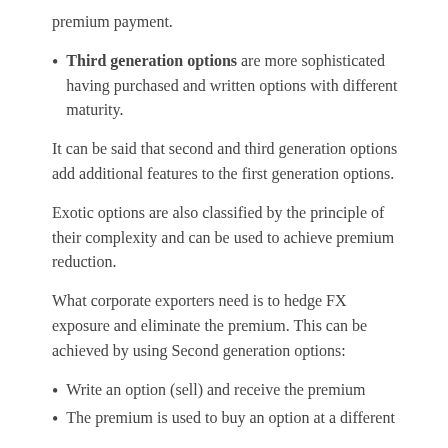premium payment.
Third generation options are more sophisticated having purchased and written options with different maturity.
It can be said that second and third generation options add additional features to the first generation options.
Exotic options are also classified by the principle of their complexity and can be used to achieve premium reduction.
What corporate exporters need is to hedge FX exposure and eliminate the premium. This can be achieved by using Second generation options:
Write an option (sell) and receive the premium
The premium is used to buy an option at a different